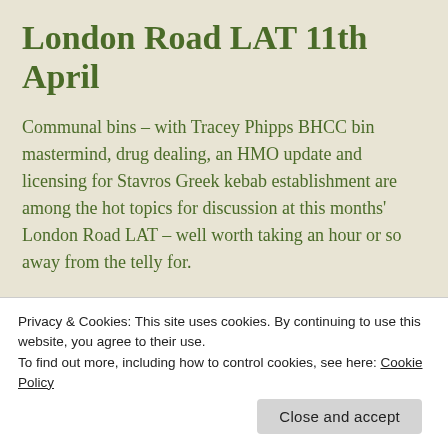London Road LAT 11th April
Communal bins – with Tracey Phipps BHCC bin mastermind, drug dealing, an HMO update and licensing for Stavros Greek kebab establishment are among the hot topics for discussion at this months' London Road LAT – well worth taking an hour or so away from the telly for.
The meeting is on Tuesday April 11th, 6.30, Calvary Church, Viaduct Road. Anyone from the
Privacy & Cookies: This site uses cookies. By continuing to use this website, you agree to their use.
To find out more, including how to control cookies, see here: Cookie Policy